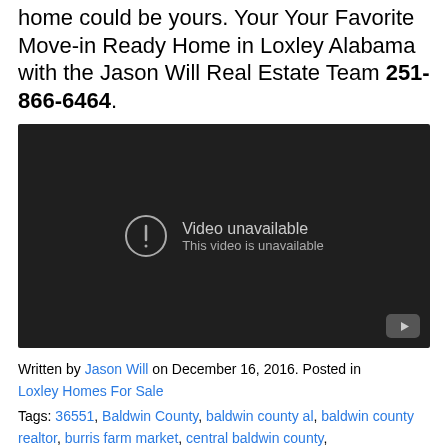home could be yours. Your Your Favorite Move-in Ready Home in Loxley Alabama with the Jason Will Real Estate Team 251-866-6464.
[Figure (screenshot): Embedded YouTube video player showing 'Video unavailable. This video is unavailable.' message on dark background with YouTube icon in bottom right.]
Written by Jason Will on December 16, 2016. Posted in Loxley Homes For Sale
Tags: 36551, Baldwin County, baldwin county al, baldwin county realtor, burris farm market, central baldwin county,